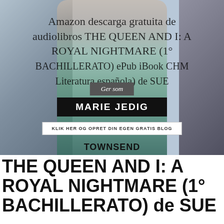[Figure (photo): Photo of a young blonde woman in a mint green knit sweater standing in a train station, with overlaid text elements including 'Amazon descarga gratuita de audiolibros THE QUEEN AND I: A ROYAL NIGHTMARE (1° BACHILLERATO) ePub iBook CHM Literatura española) de SUE TOWNSEND', a badge reading 'Ger som', a bar reading 'MARIE JEDIG', and a bar reading 'KLIK HER OG OPRET DIN EGEN GRATIS BLOG']
THE QUEEN AND I: A ROYAL NIGHTMARE (1° BACHILLERATO) de SUE